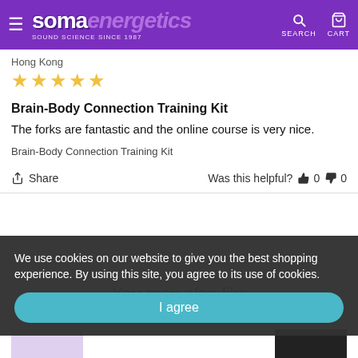SomaEnergetics - Sound Science Since 1987 | SEARCH | CART
Hong Kong
★★★★★
Brain-Body Connection Training Kit
The forks are fantastic and the online course is very nice.
Brain-Body Connection Training Kit
Share   Was this helpful?  👍 0  👎 0
We use cookies on our website to give you the best shopping experience. By using this site, you agree to its use of cookies.
I agree
You may also like